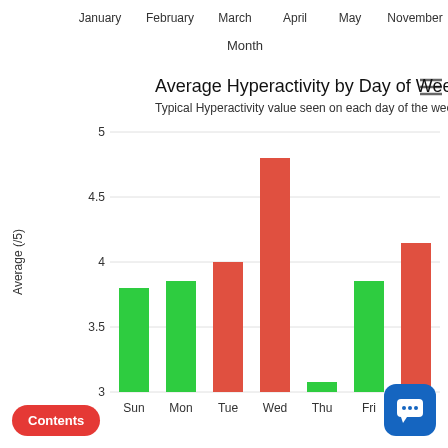[Figure (bar-chart): Average Hyperactivity by Day of Week]